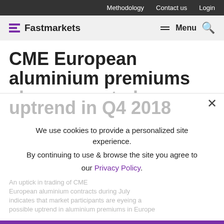Methodology   Contact us   Login
[Figure (logo): Fastmarkets logo with purple horizontal bars icon and wordmark]
CME European aluminium premiums show expected uptrend in Q4 2018
We use cookies to provide a personalized site experience. By continuing to use & browse the site you agree to our Privacy Policy.
Proceed
An uptick in trading of CME European aluminium contracts during July indicates that market participants are eyeing a possible uptrend in aluminium premiums in Europe
August 3, 2018